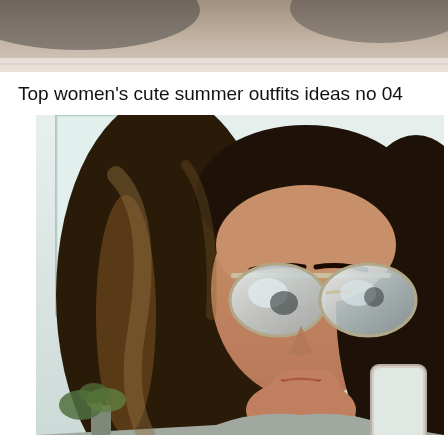[Figure (photo): Partial view of a previous image at the top of the page, showing a sandy/beige background with dark shadow.]
Top women's cute summer outfits ideas no 04
[Figure (photo): A young woman with long wavy brown hair with highlights taking a selfie in a mirror. She is wearing large mirrored aviator sunglasses and a grey top. The background shows a bright room with windows and a small plant.]